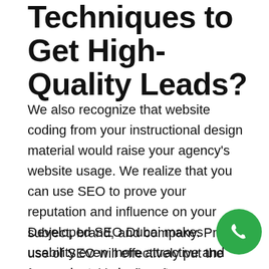Techniques to Get High-Quality Leads?
We also recognize that website coding from your instructional design material would raise your agency's website usage. We realize that you can use SEO to prove your reputation and influence on your subject, brand, and company. Proper use of SEO will effectively put the features and benefits of your company before the market.
[Figure (illustration): Green circular phone/call button icon]
Developed SEO Dubai makes usability even more attractive and convenient, and prevents your information focused, essential, and worthwhile.